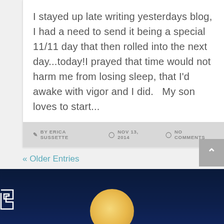I stayed up late writing yesterdays blog, I had a need to send it being a special 11/11 day that then rolled into the next day...today!I prayed that time would not harm me from losing sleep, that I'd awake with vigor and I did.   My son loves to start...
✏ BY ERICA SUSSETTE   ⊙NOV 13, 2014   ⊙NO COMMENTS
« Older Entries
[Figure (other): Dark navy footer with a moon circle partially visible at the bottom and a Greek key/meander decorative border pattern in white on the dark background.]